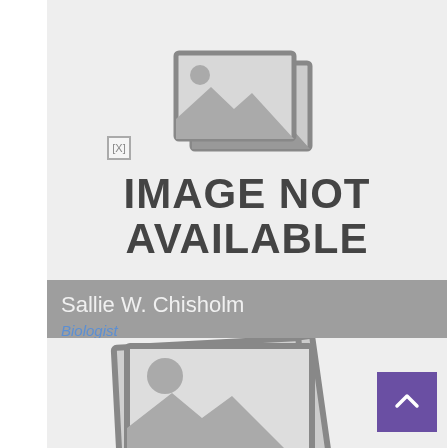[Figure (photo): Image not available placeholder with stacked image icon and text 'IMAGE NOT AVAILABLE']
Sallie W. Chisholm
Biologist
[Figure (photo): Second image not available placeholder with stacked image icons, partially visible]